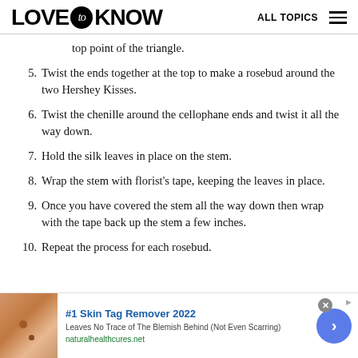LOVE to KNOW   ALL TOPICS
top point of the triangle.
5. Twist the ends together at the top to make a rosebud around the two Hershey Kisses.
6. Twist the chenille around the cellophane ends and twist it all the way down.
7. Hold the silk leaves in place on the stem.
8. Wrap the stem with florist's tape, keeping the leaves in place.
9. Once you have covered the stem all the way down then wrap with the tape back up the stem a few inches.
10. Repeat the process for each rosebud.
[Figure (screenshot): Advertisement banner: #1 Skin Tag Remover 2022. Leaves No Trace of The Blemish Behind (Not Even Scarring). naturalhealthcures.net. Close button and forward arrow button visible.]